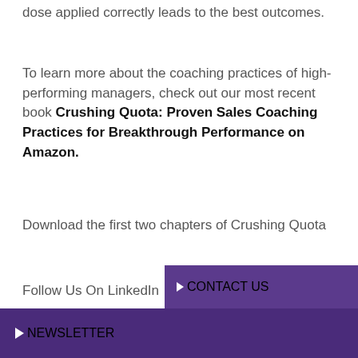dose applied correctly leads to the best outcomes.
To learn more about the coaching practices of high-performing managers, check out our most recent book Crushing Quota: Proven Sales Coaching Practices for Breakthrough Performance on Amazon.
Download the first two chapters of Crushing Quota
Follow Us On LinkedIn
[Figure (infographic): Purple banner with arrow circle icon and CONTACT US text in white on purple background]
[Figure (infographic): Dark purple banner with arrow circle icon and NEWSLETTER text in white]